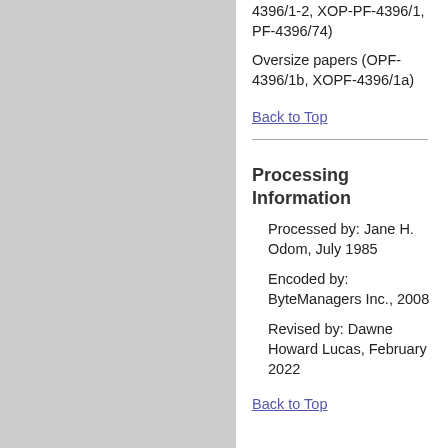4396/1-2, XOP-PF-4396/1, PF-4396/74)
Oversize papers (OPF-4396/1b, XOPF-4396/1a)
Back to Top
Processing Information
Processed by: Jane H. Odom, July 1985
Encoded by: ByteManagers Inc., 2008
Revised by: Dawne Howard Lucas, February 2022
Back to Top